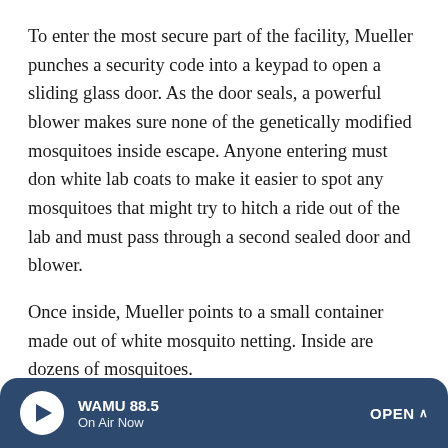To enter the most secure part of the facility, Mueller punches a security code into a keypad to open a sliding glass door. As the door seals, a powerful blower makes sure none of the genetically modified mosquitoes inside escape. Anyone entering must don white lab coats to make it easier to spot any mosquitoes that might try to hitch a ride out of the lab and must pass through a second sealed door and blower.
Once inside, Mueller points to a small container made out of white mosquito netting. Inside are dozens of mosquitoes.
"Here we have gene-drive mosquitoes — these genetically modified mosquitoes," she says.
The insects quickly crashed populations of their natural
WAMU 88.5 On Air Now OPEN